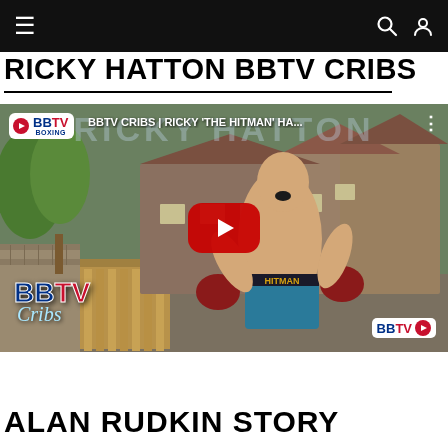Navigation bar with hamburger menu, search and user icons
RICKY HATTON BBTV CRIBS
[Figure (screenshot): YouTube video thumbnail for BBTV Cribs featuring Ricky 'The Hitman' Hatton. Shows Ricky Hatton shirtless in boxing shorts labeled HITMAN, arms raised, in front of a stone building. YouTube play button overlay in center. BBTV Boxing badge top left. Title text reads: BBTV CRIBS | RICKY 'THE HITMAN' HA... Top left YouTube-style channel badge, BBTV Cribs logo bottom left, BBTV logo bottom right.]
ALAN RUDKIN STORY